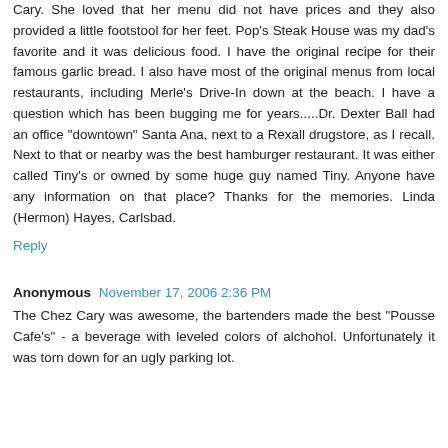Cary. She loved that her menu did not have prices and they also provided a little footstool for her feet. Pop's Steak House was my dad's favorite and it was delicious food. I have the original recipe for their famous garlic bread. I also have most of the original menus from local restaurants, including Merle's Drive-In down at the beach. I have a question which has been bugging me for years.....Dr. Dexter Ball had an office "downtown" Santa Ana, next to a Rexall drugstore, as I recall. Next to that or nearby was the best hamburger restaurant. It was either called Tiny's or owned by some huge guy named Tiny. Anyone have any information on that place? Thanks for the memories. Linda (Hermon) Hayes, Carlsbad.
Reply
Anonymous  November 17, 2006 2:36 PM
The Chez Cary was awesome, the bartenders made the best "Pousse Cafe's" - a beverage with leveled colors of alchohol. Unfortunately it was torn down for an ugly parking lot.